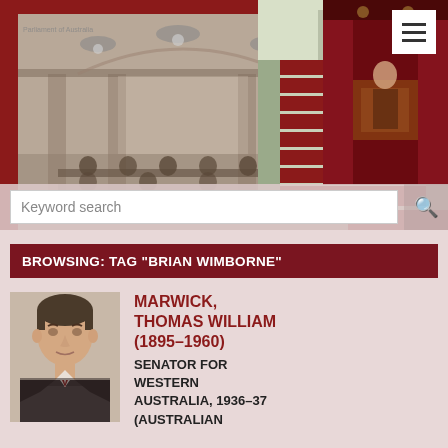[Figure (photo): Website banner showing collage of three Australian Parliament House images: a black-and-white historical photo of parliament chamber, a color photo of grand staircase with red carpet, and a color photo of the senate chamber with red furnishings. A white hamburger menu icon appears top right and a keyword search bar at the bottom.]
BROWSING: TAG "BRIAN WIMBORNE"
[Figure (photo): Black-and-white portrait photograph of Thomas William Marwick, a middle-aged man in a dark suit.]
MARWICK, THOMAS WILLIAM (1895–1960)
SENATOR FOR WESTERN AUSTRALIA, 1936–37 (AUSTRALIAN